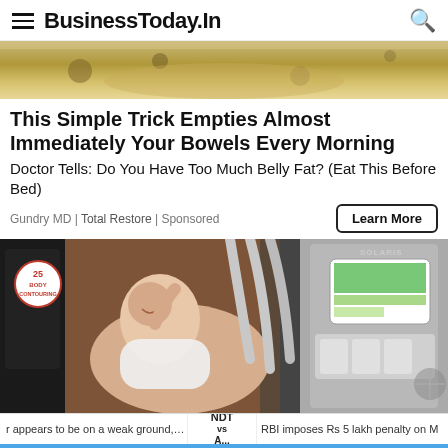BusinessToday.In
[Figure (photo): Top partial image of a dish with spices or powder, cropped at the top of the page]
This Simple Trick Empties Almost Immediately Your Bowels Every Morning
Doctor Tells: Do You Have Too Much Belly Fat? (Eat This Before Bed)
Gundry MD | Total Restore | Sponsored
[Figure (photo): Woman smiling and lying in a body contouring treatment machine with robotic arms and a tablet screen. Badge reads '25 BODY CONTOURING'. Brand label 'SOLARIS' visible on machine.]
r appears to be on a weak ground, say lawyers
NDT vs A...
RBI imposes Rs 5 lakh penalty on M
RECOMMENDED